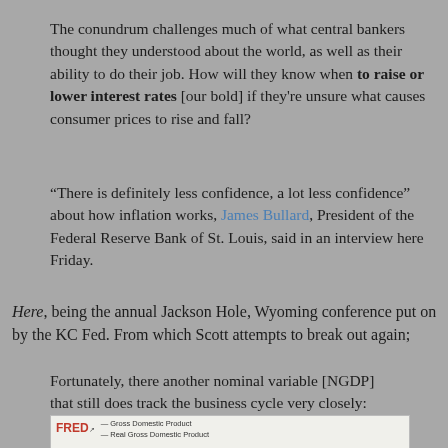The conundrum challenges much of what central bankers thought they understood about the world, as well as their ability to do their job. How will they know when to raise or lower interest rates [our bold] if they're unsure what causes consumer prices to rise and fall?
“There is definitely less confidence, a lot less confidence” about how inflation works, James Bullard, President of the Federal Reserve Bank of St. Louis, said in an interview here Friday.
Here, being the annual Jackson Hole, Wyoming conference put on by the KC Fed. From which Scott attempts to break out again;
Fortunately, there another nominal variable [NGDP] that still does track the business cycle very closely:
[Figure (other): Partial FRED chart showing Gross Domestic Product and Real Gross Domestic Product lines, partially visible at bottom of page]